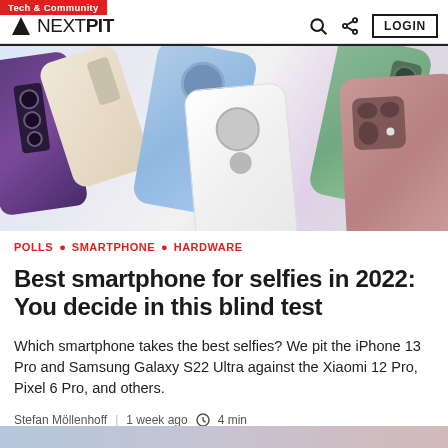Tech & Community | NEXTPIT | LOGIN
[Figure (photo): Multiple smartphones arranged overlapping showing their back camera systems — purple phone, white phone, pink/mauve phone, blue phone, light green phone, and beige/cream phone on a light background.]
POLLS • SMARTPHONE • HARDWARE
Best smartphone for selfies in 2022: You decide in this blind test
Which smartphone takes the best selfies? We pit the iPhone 13 Pro and Samsung Galaxy S22 Ultra against the Xiaomi 12 Pro, Pixel 6 Pro, and others.
Stefan Möllenhoff | 1 week ago ⊙ 4 min
2  Sony  Apple iPhone 13 Pro  Apple  +